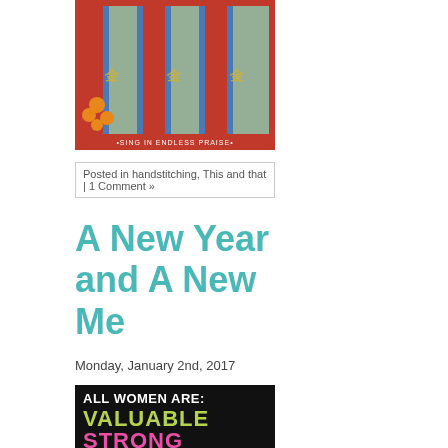[Figure (illustration): A textile/quilt artwork with vertical blue and red striped pattern, gold lettering, orange floral elements, and text reading 'SING IN ENDLESS PRAISE' at the bottom on a red border]
Posted in handstitching, This and that | 1 Comment »
A New Year and A New Me
Monday, January 2nd, 2017
[Figure (illustration): Black background graphic with text: 'ALL WOMEN ARE:' in white, 'VALUABLE' in green/yellow, 'STRONG' in pink]